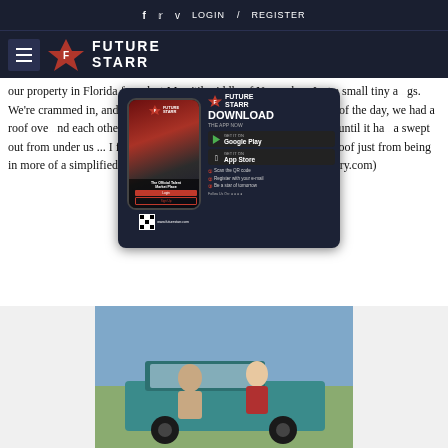f  t  v  LOGIN  /  REGISTER
[Figure (logo): Future Starr logo with hamburger menu]
our property in Florida from last May 'til middle of November. Just a small tiny a...gs. We're crammed in, and ...everything that we loved and knew w...end of the day, we had a roof ove...nd each other," he continues. "I'd...ways believed that, but until it ha...a swept out from under us ... I feel...r. Our happiness level went through the roof just from being in more of a simplified life than we're used to." (Source: tasteofcountry.com)
[Figure (infographic): Future Starr app download advertisement overlay showing phone mockup, download CTA, Google Play and App Store buttons, QR code, steps, and website www.futurestarr.com]
[Figure (photo): Two people sitting on a teal/turquoise pickup truck outdoors]